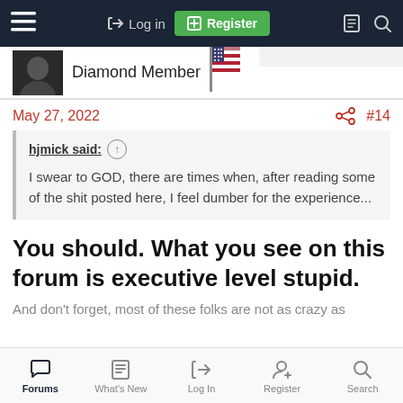Log in | Register
Diamond Member
May 27, 2022 #14
hjmick said: ↑ I swear to GOD, there are times when, after reading some of the shit posted here, I feel dumber for the experience...
You should. What you see on this forum is executive level stupid.
And don't forget, most of these folks are not as crazy as
Forums | What's New | Log In | Register | Search